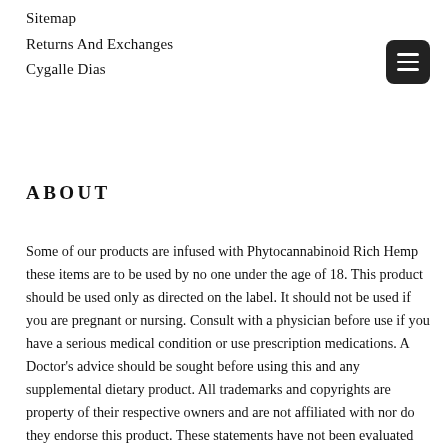Sitemap
Returns And Exchanges
Cygalle Dias
ABOUT
Some of our products are infused with Phytocannabinoid Rich Hemp these items are to be used by no one under the age of 18. This product should be used only as directed on the label. It should not be used if you are pregnant or nursing. Consult with a physician before use if you have a serious medical condition or use prescription medications. A Doctor's advice should be sought before using this and any supplemental dietary product. All trademarks and copyrights are property of their respective owners and are not affiliated with nor do they endorse this product. These statements have not been evaluated by the FDA. By purchasing and/or using Phytocannabinoid Rich Hemp products, you acknowledge that you are aware of your local laws and employer's rules regarding the possession and/or use of Phytocannabinoid Rich Hemp products. By using this site, you